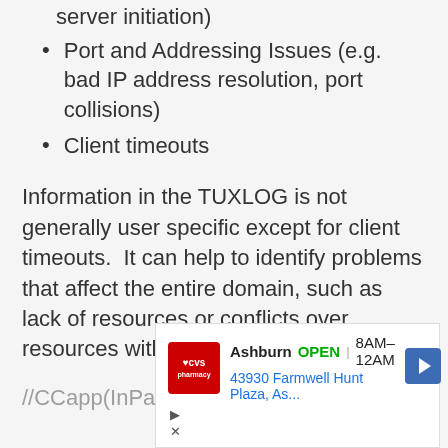server initiation)
Port and Addressing Issues (e.g. bad IP address resolution, port collisions)
Client timeouts
Information in the TUXLOG is not generally user specific except for client timeouts.  It can help to identify problems that affect the entire domain, such as lack of resources or conflicts over resources with other applications.
//CCapp(InPath C)/Windows>
[Figure (screenshot): CVS Pharmacy advertisement banner showing Ashburn location, OPEN 8AM-12AM, address 43930 Farmwell Hunt Plaza, As... with navigation arrow and close/play icons]